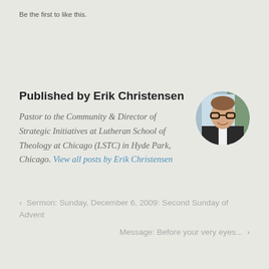Be the first to like this.
Published by Erik Christensen
Pastor to the Community & Director of Strategic Initiatives at Lutheran School of Theology at Chicago (LSTC) in Hyde Park, Chicago. View all posts by Erik Christensen
[Figure (photo): Circular profile photo of Erik Christensen, a smiling man with glasses wearing dark clothing, with a light blue/green background]
‹  Sermon: Sunday, December 6, 2009: Second Sunday of Advent
Message: Before your very eyes...  ›